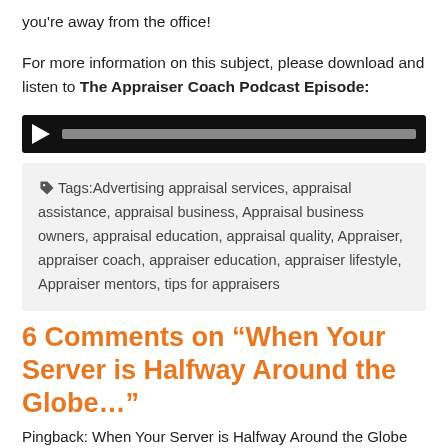you're away from the office!
For more information on this subject, please download and listen to The Appraiser Coach Podcast Episode:
[Figure (other): Audio player with black background, white play button triangle, and gray progress bar]
Tags: Advertising appraisal services, appraisal assistance, appraisal business, Appraisal business owners, appraisal education, appraisal quality, Appraiser, appraiser coach, appraiser education, appraiser lifestyle, Appraiser mentors, tips for appraisers
6 Comments on “When Your Server is Halfway Around the Globe…”
Pingback: When Your Server is Halfway Around the Globe